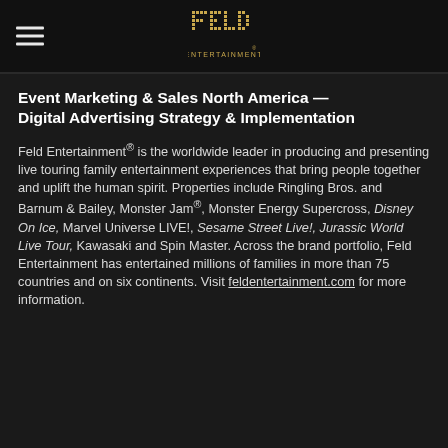Feld Entertainment logo and navigation
Event Marketing & Sales North America — Digital Advertising Strategy & Implementation
Feld Entertainment® is the worldwide leader in producing and presenting live touring family entertainment experiences that bring people together and uplift the human spirit. Properties include Ringling Bros. and Barnum & Bailey, Monster Jam®, Monster Energy Supercross, Disney On Ice, Marvel Universe LIVE!, Sesame Street Live!, Jurassic World Live Tour, Kawasaki and Spin Master. Across the brand portfolio, Feld Entertainment has entertained millions of families in more than 75 countries and on six continents. Visit feldentertainment.com for more information.